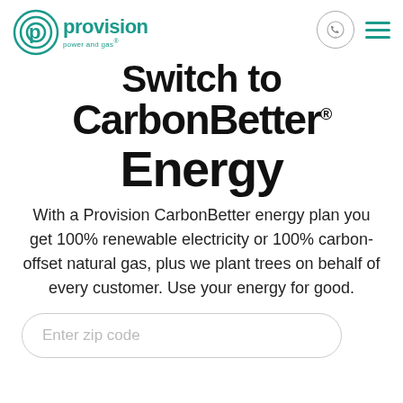provision power and gas® | Switch to CarbonBetter® Energy
Switch to CarbonBetter® Energy
With a Provision CarbonBetter energy plan you get 100% renewable electricity or 100% carbon-offset natural gas, plus we plant trees on behalf of every customer. Use your energy for good.
Enter zip code